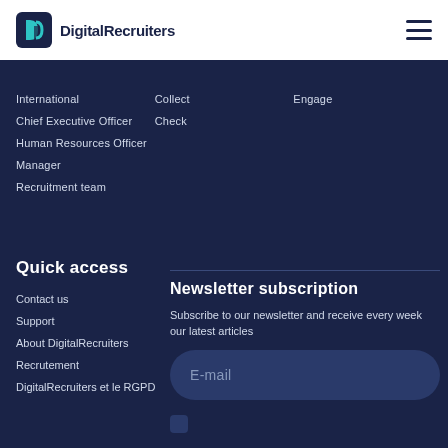DigitalRecruiters
International
Chief Executive Officer
Human Resources Officer
Manager
Recruitment team
Collect
Check
Engage
Quick access
Contact us
Support
About DigitalRecruiters
Recrutement
DigitalRecruiters et le RGPD
Newsletter subscription
Subscribe to our newsletter and receive every week our latest articles
E-mail